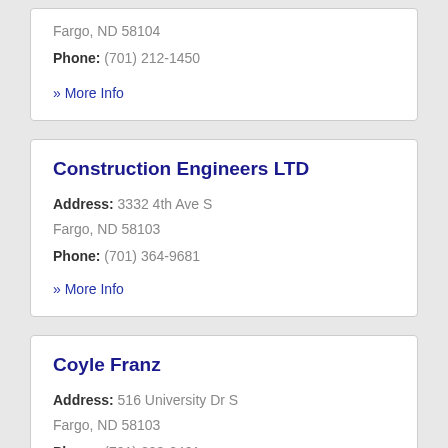Fargo, ND 58104
Phone: (701) 212-1450
» More Info
Construction Engineers LTD
Address: 3332 4th Ave S
Fargo, ND 58103
Phone: (701) 364-9681
» More Info
Coyle Franz
Address: 516 University Dr S
Fargo, ND 58103
Phone: (701) 298-6461